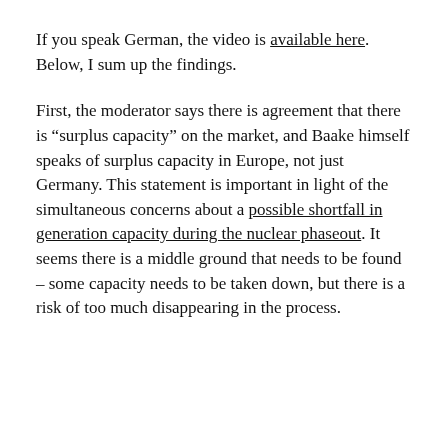If you speak German, the video is available here. Below, I sum up the findings.
First, the moderator says there is agreement that there is “surplus capacity” on the market, and Baake himself speaks of surplus capacity in Europe, not just Germany. This statement is important in light of the simultaneous concerns about a possible shortfall in generation capacity during the nuclear phaseout. It seems there is a middle ground that needs to be found – some capacity needs to be taken down, but there is a risk of too much disappearing in the process.